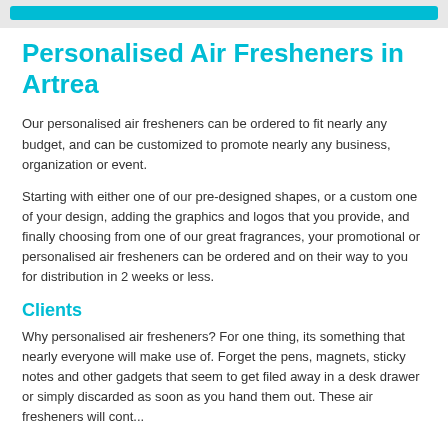[Figure (other): Cyan/blue horizontal navigation bar at the top of the page]
Personalised Air Fresheners in Artrea
Our personalised air fresheners can be ordered to fit nearly any budget, and can be customized to promote nearly any business, organization or event.
Starting with either one of our pre-designed shapes, or a custom one of your design, adding the graphics and logos that you provide, and finally choosing from one of our great fragrances, your promotional or personalised air fresheners can be ordered and on their way to you for distribution in 2 weeks or less.
Clients
Why personalised air fresheners? For one thing, its something that nearly everyone will make use of. Forget the pens, magnets, sticky notes and other gadgets that seem to get filed away in a desk drawer or simply discarded as soon as you hand them out. These air fresheners will cont...